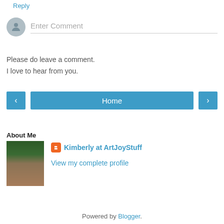Reply
[Figure (other): Comment input area with avatar placeholder and 'Enter Comment' text field]
Please do leave a comment.
I love to hear from you.
[Figure (infographic): Navigation buttons: left arrow, Home, right arrow]
View web version
About Me
[Figure (photo): Profile photo of Kimberly, a woman with brown hair and glasses in front of green foliage]
Kimberly at ArtJoyStuff
View my complete profile
Powered by Blogger.